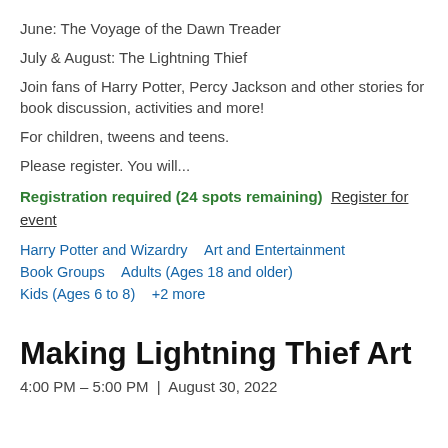June: The Voyage of the Dawn Treader
July & August: The Lightning Thief
Join fans of Harry Potter, Percy Jackson and other stories for book discussion, activities and more!
For children, tweens and teens.
Please register. You will...
Registration required (24 spots remaining)  Register for event
Harry Potter and Wizardry    Art and Entertainment
Book Groups    Adults (Ages 18 and older)
Kids (Ages 6 to 8)    +2 more
Making Lightning Thief Art
4:00 PM – 5:00 PM  |  August 30, 2022